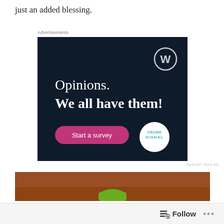just an added blessing.
Advertisements
[Figure (screenshot): WordPress/Crowdsignal advertisement with dark navy background. Shows WordPress logo (W in circle) top right. Text reads 'Opinions. We all have them!' with a pink 'Start a survey' button and Crowdsignal logo circle bottom right.]
REPORT THIS AD
[Figure (photo): Partial photo showing what appears to be a green object on a wooden surface.]
Follow ...